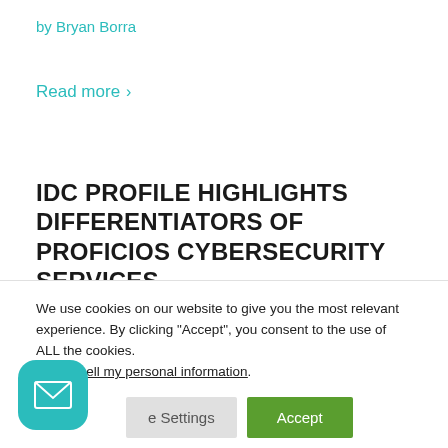by Bryan Borra
Read more >
IDC PROFILE HIGHLIGHTS DIFFERENTIATORS OF PROFICIOS CYBERSECURITY SERVICES
by Proficio
Read more >
We use cookies on our website to give you the most relevant experience. By clicking “Accept”, you consent to the use of ALL the cookies.
Do not sell my personal information.